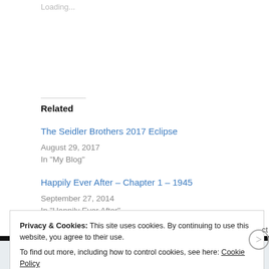Loading...
Related
The Seidler Brothers 2017 Eclipse
August 29, 2017
In "My Blog"
The Robinson B...
September 2, 20...
In "My Blog"
Happily Ever After – Chapter 1 – 1945
September 27, 2014
In "Happily Ever After"
Privacy & Cookies: This site uses cookies. By continuing to use this website, you agree to their use.
To find out more, including how to control cookies, see here: Cookie Policy
Close and accept